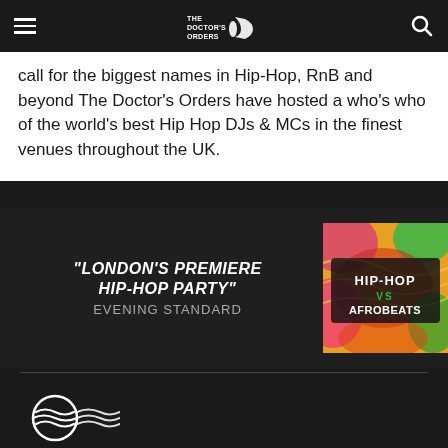THE DOCTOR'S ORDERS
call for the biggest names in Hip-Hop, RnB and beyond The Doctor's Orders have hosted a who's who of the world's best Hip Hop DJs & MCs in the finest venues throughout the UK.
"LONDON'S PREMIERE HIP-HOP PARTY" EVENING STANDARD
[Figure (illustration): Hip-Hop vs Afrobeats colorful event flyer with psychedelic swirling background]
[Figure (logo): Circular wave/mail stamp logo icon in white outline]
Join our mailing list